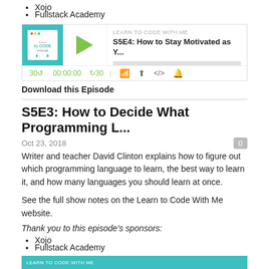Xojo
Fullstack Academy
[Figure (screenshot): Podcast player widget for 'LEARN TO CODE WITH ME' showing episode 'S5E4: How to Stay Motivated as Y...' with play button, progress bar, timer controls showing 30s rewind, 00:00:00 timestamp, 30s forward, and icons for RSS, download, embed, and notifications.]
Download this Episode
S5E3: How to Decide What Programming L...
Oct 23, 2018
Writer and teacher David Clinton explains how to figure out which programming language to learn, the best way to learn it, and how many languages you should learn at once.
See the full show notes on the Learn to Code With Me website.
Thank you to this episode's sponsors:
Xojo
Fullstack Academy
[Figure (screenshot): Bottom of page showing start of another podcast player widget with teal/turquoise thumbnail area and 'LEARN TO CODE WITH ME' label visible.]